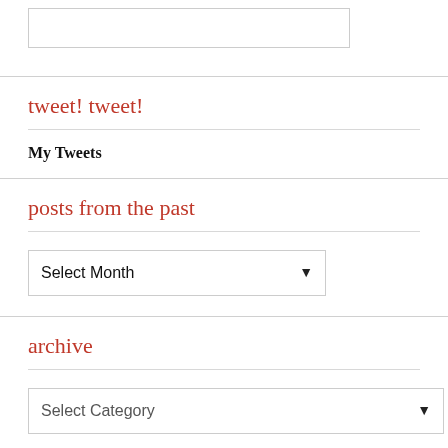tweet! tweet!
My Tweets
posts from the past
Select Month
archive
Select Category